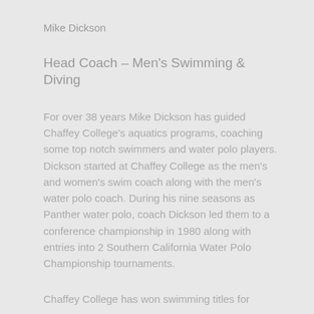Mike Dickson
Head Coach – Men's Swimming & Diving
For over 38 years Mike Dickson has guided Chaffey College's aquatics programs, coaching some top notch swimmers and water polo players. Dickson started at Chaffey College as the men's and women's swim coach along with the men's water polo coach. During his nine seasons as Panther water polo, coach Dickson led them to a conference championship in 1980 along with entries into 2 Southern California Water Polo Championship tournaments.
Chaffey College has won swimming titles for